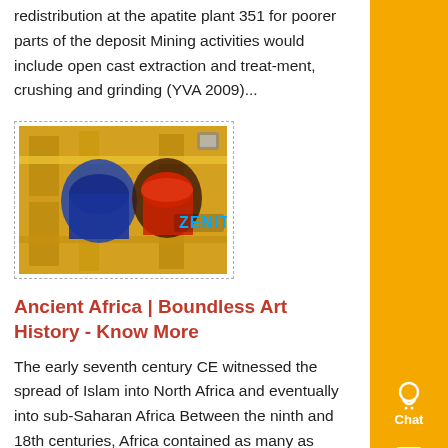redistribution at the apatite plant 351 for poorer parts of the deposit Mining activities would include open cast extraction and treat-ment, crushing and grinding (YVA 2009)...
[Figure (photo): Industrial mining equipment with yellow scaffolding and the ZENIT logo visible on machinery]
Ancient Africa | Boundless Art History - Know More
The early seventh century CE witnessed the spread of Islam into North Africa and eventually into sub-Saharan Africa Between the ninth and 18th centuries, Africa contained as many as 10,000 separate nation-states, as well as polities governed by units as small as familial